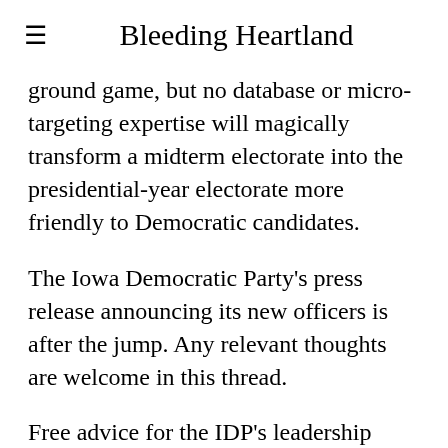Bleeding Heartland
ground game, but no database or micro-targeting expertise will magically transform a midterm electorate into the presidential-year electorate more friendly to Democratic candidates.
The Iowa Democratic Party's press release announcing its new officers is after the jump. Any relevant thoughts are welcome in this thread.
Free advice for the IDP's leadership team: don't invite the media to cover your Soviet-